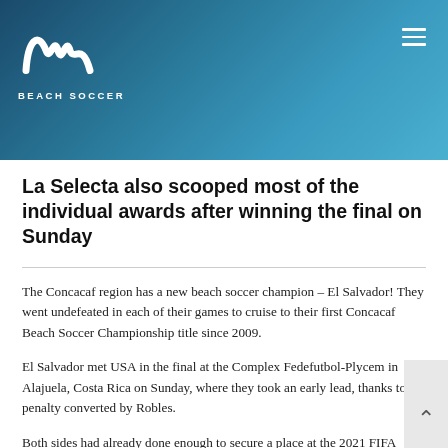BEACH SOCCER
La Selecta also scooped most of the individual awards after winning the final on Sunday
The Concacaf region has a new beach soccer champion – El Salvador! They went undefeated in each of their games to cruise to their first Concacaf Beach Soccer Championship title since 2009.
El Salvador met USA in the final at the Complex Fedefutbol-Plycem in Alajuela, Costa Rica on Sunday, where they took an early lead, thanks to a penalty converted by Robles.
Both sides had already done enough to secure a place at the 2021 FIFA Beach Soccer World Cup Russia, but with the continental